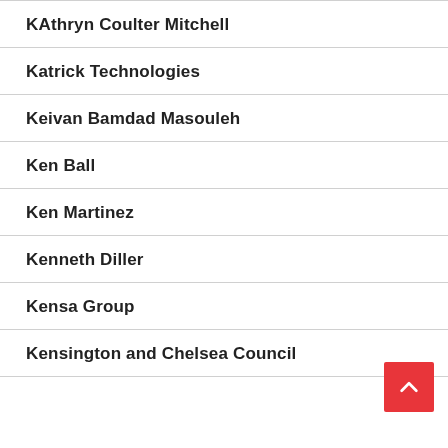KAthryn Coulter Mitchell
Katrick Technologies
Keivan Bamdad Masouleh
Ken Ball
Ken Martinez
Kenneth Diller
Kensa Group
Kensington and Chelsea Council